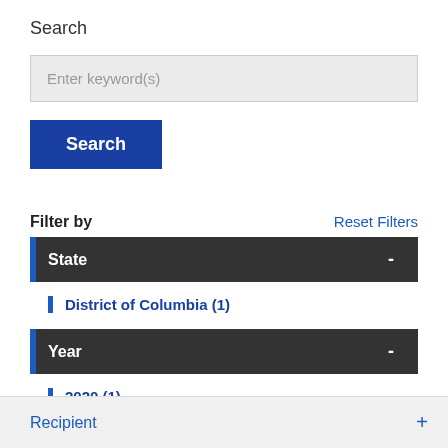Search
Enter keyword(s)
Search
Filter by
Reset Filters
State -
District of Columbia (1)
Year -
2020 (1)
Recipient +